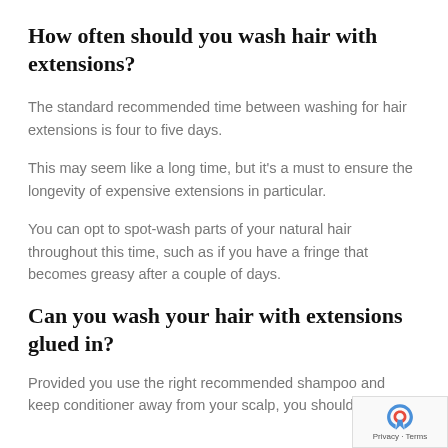How often should you wash hair with extensions?
The standard recommended time between washing for hair extensions is four to five days.
This may seem like a long time, but it's a must to ensure the longevity of expensive extensions in particular.
You can opt to spot-wash parts of your natural hair throughout this time, such as if you have a fringe that becomes greasy after a couple of days.
Can you wash your hair with extensions glued in?
Provided you use the right recommended shampoo and keep conditioner away from your scalp, you should be able